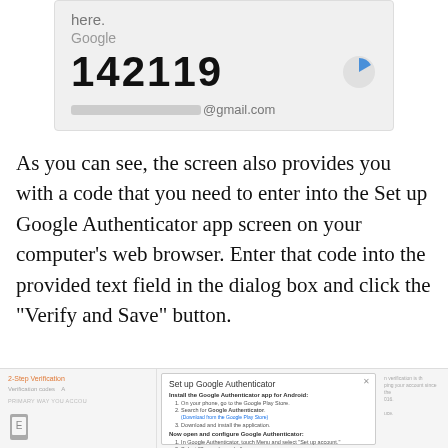[Figure (screenshot): Mobile phone screenshot showing Google Authenticator app with code 142119 and a timer icon, with a Gmail address partially obscured]
As you can see, the screen also provides you with a code that you need to enter into the Set up Google Authenticator app screen on your computer’s web browser. Enter that code into the provided text field in the dialog box and click the “Verify and Save” button.
[Figure (screenshot): Browser screenshot showing the 2-Step Verification settings page with the Set up Google Authenticator dialog box open, showing instructions to install the app and scan a barcode]